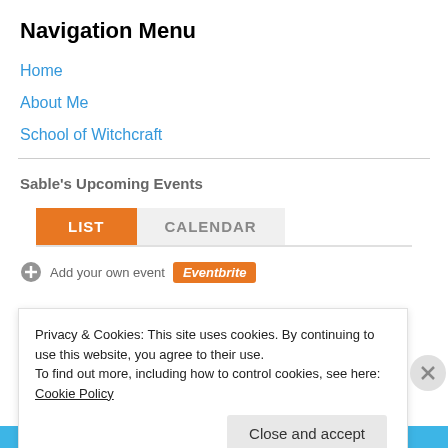Navigation Menu
Home
About Me
School of Witchcraft
Sable's Upcoming Events
[Figure (screenshot): Tab bar with LIST (orange, selected) and CALENDAR (gray) buttons]
+ Add your own event  Eventbrite
Privacy & Cookies: This site uses cookies. By continuing to use this website, you agree to their use.
To find out more, including how to control cookies, see here: Cookie Policy
Close and accept